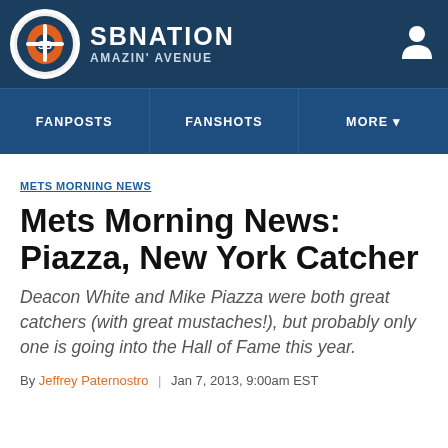SB NATION AMAZIN' AVENUE
FANPOSTS | FANSHOTS | MORE
METS MORNING NEWS
Mets Morning News: Piazza, New York Catcher
Deacon White and Mike Piazza were both great catchers (with great mustaches!), but probably only one is going into the Hall of Fame this year.
By Jeffrey Paternostro | Jan 7, 2013, 9:00am EST